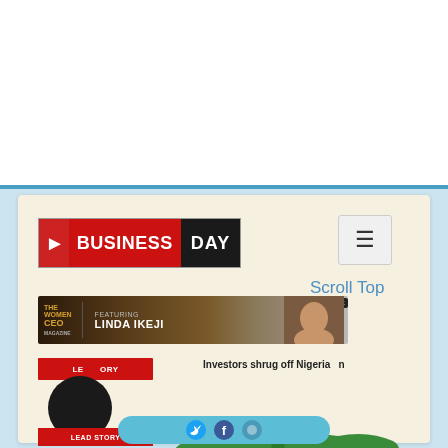[Figure (screenshot): White advertisement space at top of page]
[Figure (logo): BusinessDay newspaper logo — red BUSINESS on dark background plus black DAY block]
≡
Scroll Top
[Figure (photo): CEO magazine banner featuring LINDA IKEJI with dark wood-toned background]
LEAD STORY
Investors shrug off Nigeria
[Figure (illustration): Green map/silhouette illustration of Nigeria]
LEAD STORY
Siteprice.org
[Figure (screenshot): Social sharing bar with Twitter and other icons at bottom]